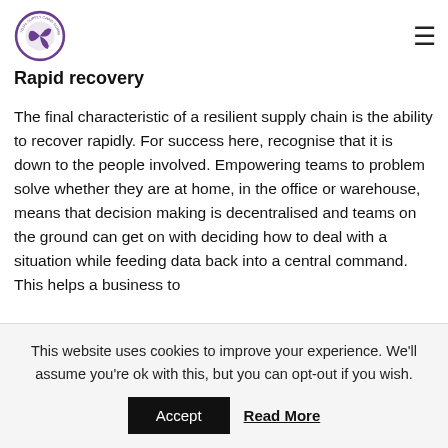Total Supply Chain Summit logo and navigation menu
Rapid recovery
The final characteristic of a resilient supply chain is the ability to recover rapidly. For success here, recognise that it is down to the people involved. Empowering teams to problem solve whether they are at home, in the office or warehouse, means that decision making is decentralised and teams on the ground can get on with deciding how to deal with a situation while feeding data back into a central command. This helps a business to
This website uses cookies to improve your experience. We'll assume you're ok with this, but you can opt-out if you wish.
Accept   Read More